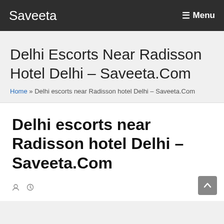Saveeta  ☰ Menu
Delhi Escorts Near Radisson Hotel Delhi – Saveeta.Com
Home » Delhi escorts near Radisson hotel Delhi – Saveeta.Com
Delhi escorts near Radisson hotel Delhi – Saveeta.Com